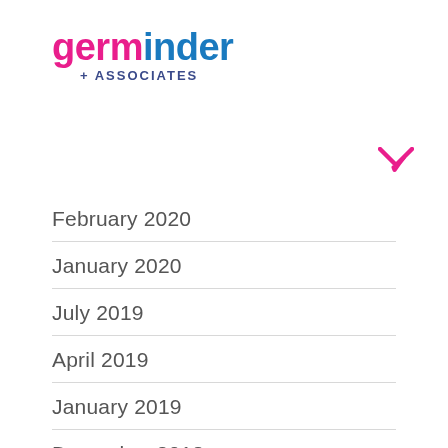[Figure (logo): Germinder + Associates logo with 'germinder' in pink/blue gradient text and '+ ASSOCIATES' in dark blue below]
February 2020
January 2020
July 2019
April 2019
January 2019
December 2018